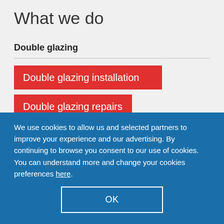What we do
Double glazing
Double glazing installation
Double glazing repairs
We use cookies to allow us and selected partners to improve your experience and our advertising. By continuing to browse you consent to our use of cookies. You can understand more and change your cookies preferences here.
OK